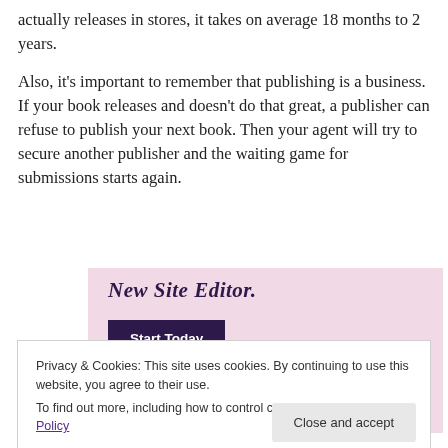actually releases in stores, it takes on average 18 months to 2 years.
Also, it's important to remember that publishing is a business. If your book releases and doesn't do that great, a publisher can refuse to publish your next book. Then your agent will try to secure another publisher and the waiting game for submissions starts again.
[Figure (screenshot): Pink promotional banner with text 'New Site Editor.' and a dark purple 'Start Today' button]
Privacy & Cookies: This site uses cookies. By continuing to use this website, you agree to their use.
To find out more, including how to control cookies, see here: Cookie Policy
Close and accept